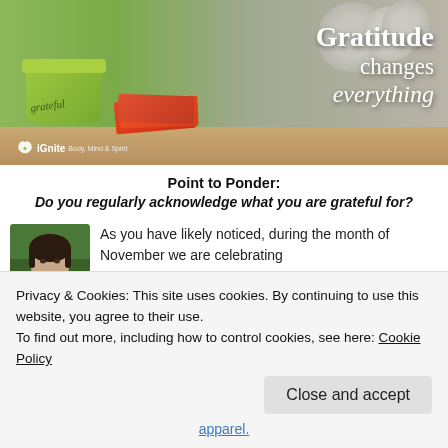[Figure (photo): Promotional image with a green pot labeled 'grateful', pumpkins, red/orange cards, iGnite logo, and text 'Gratitude changes everything' on a warm background.]
Point to Ponder:
Do you regularly acknowledge what you are grateful for?
[Figure (photo): Headshot of a woman with dark hair, outdoors with green background.]
As you have likely noticed, during the month of November we are celebrating
Privacy & Cookies: This site uses cookies. By continuing to use this website, you agree to their use.
To find out more, including how to control cookies, see here: Cookie Policy
Close and accept
apparel.